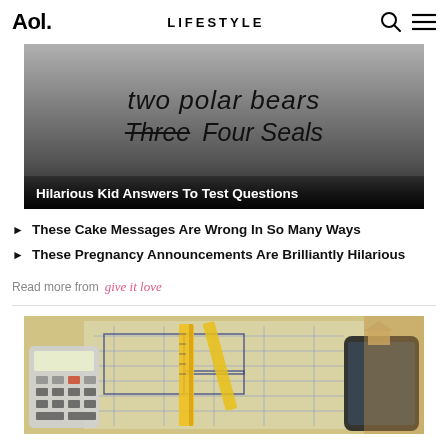Aol. | LIFESTYLE
[Figure (photo): Handwritten text showing 'two polar bears' with 'Three' crossed out and replaced by 'Four Seals' — a funny kid's test answer. Image has dark gradient overlay at bottom.]
Hilarious Kid Answers To Test Questions
These Cake Messages Are Wrong In So Many Ways
These Pregnancy Announcements Are Brilliantly Hilarious
Read more from give it love
[Figure (photo): Top-down view of construction/architecture blueprints with a yellow folding ruler, calculator, smartphone, and small house model on a wooden surface.]